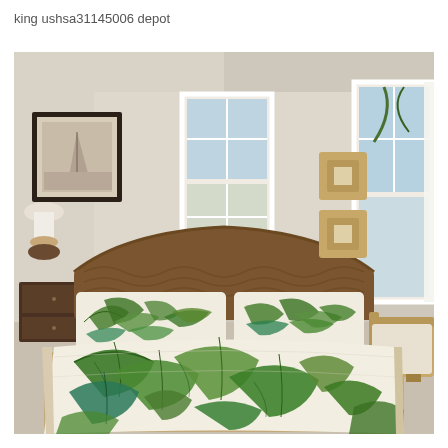king ushsa31145006 depot
[Figure (photo): A tropical-themed bedroom featuring a king-size bed with a white quilt/bedspread printed with large green tropical leaves and plants. The bed has a dark woven rattan headboard and matching leaf-print pillowcases. The room has beige/tan walls, a framed sailboat photograph on the left wall, two windows with white trim showing palm trees and water outside, two square rattan wall art pieces on the right wall, a wicker armchair, a side table with a lamp, and a jute rug. The overall style is coastal/tropical.]